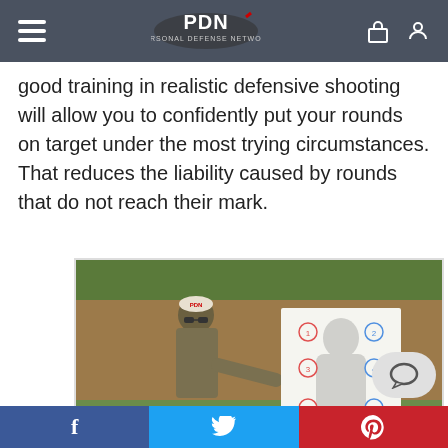PDN Personal Defense Network
good training in realistic defensive shooting will allow you to confidently put your rounds on target under the most trying circumstances. That reduces the liability caused by rounds that do not reach their mark.
[Figure (photo): A man wearing a PDN cap and sunglasses pointing at a shooting target (silhouette target with colored scoring zones) at an outdoor shooting range with a dirt berm background.]
Facebook | Twitter | Pinterest social sharing bar